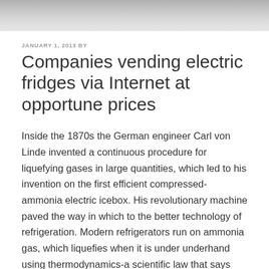JANUARY 1, 2013 BY
Companies vending electric fridges via Internet at opportune prices
Inside the 1870s the German engineer Carl von Linde invented a continuous procedure for liquefying gases in large quantities, which led to his invention on the first efficient compressed-ammonia electric icebox. His revolutionary machine paved the way in which to the better technology of refrigeration. Modern refrigerators run on ammonia gas, which liquefies when it is under underhand using thermodynamics-a scientific law that says when two different temperatures of things touch or